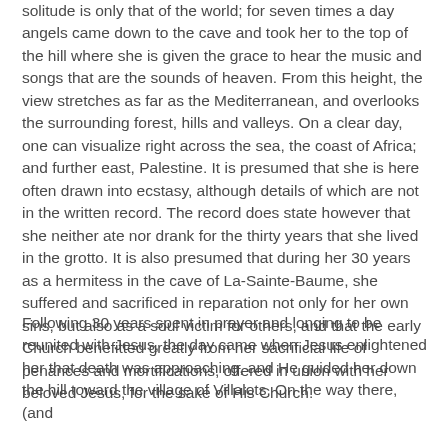solitude is only that of the world; for seven times a day angels came down to the cave and took her to the top of the hill where she is given the grace to hear the music and songs that are the sounds of heaven. From this height, the view stretches as far as the Mediterranean, and overlooks the surrounding forest, hills and valleys. On a clear day, one can visualize right across the sea, the coast of Africa; and further east, Palestine. It is presumed that she is here often drawn into ecstasy, although details of which are not in the written record. The record does state however that she neither ate nor drank for the thirty years that she lived in the grotto. It is also presumed that during her 30 years as a hermitess in the cave of La-Sainte-Baume, she suffered and sacrificed in reparation not only for her own sins, but also as a soul victim for others, and that the early Church benefitted greatly from her sacrificial life of penances and mortifications, offered in union with her beloved Jesus, for the sake of His Church.
Following 30 years spent in prayer and longing to be reunited with Jesus, the day came when Jesus enlightened her that death was approaching, and He guided her down the hill toward the village of Villalots. On the way there, (and